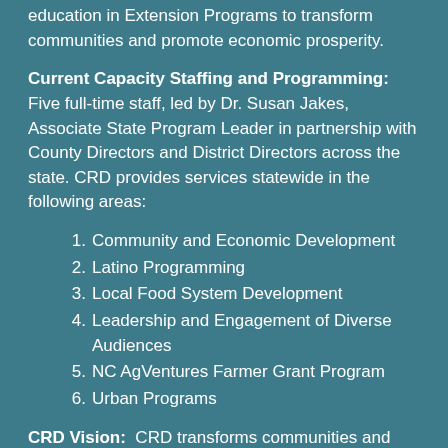education in Extension Programs to transform communities and promote economic prosperity.
Current Capacity Staffing and Programming: Five full-time staff, led by Dr. Susan Jakes, Associate State Program Leader in partnership with County Directors and District Directors across the state. CRD provides services statewide in the following areas:
Community and Economic Development
Latino Programming
Local Food System Development
Leadership and Engagement of Diverse Audiences
NC AgVentures Farmer Grant Program
Urban Programs
CRD Vision: CRD transforms communities and promotes Economically and Socially Vibrant